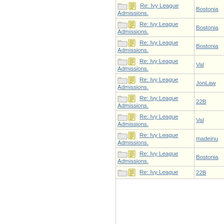| Subject | Author |
| --- | --- |
| Re: Ivy League Admissions. | Bostonia |
| Re: Ivy League Admissions. | Bostonia |
| Re: Ivy League Admissions. | Bostonia |
| Re: Ivy League Admissions. | Val |
| Re: Ivy League Admissions. | JonLaw |
| Re: Ivy League Admissions. | 22B |
| Re: Ivy League Admissions. | Val |
| Re: Ivy League Admissions. | madeinu |
| Re: Ivy League Admissions. | Bostonia |
| Re: Ivy League Admissions. | 22B |